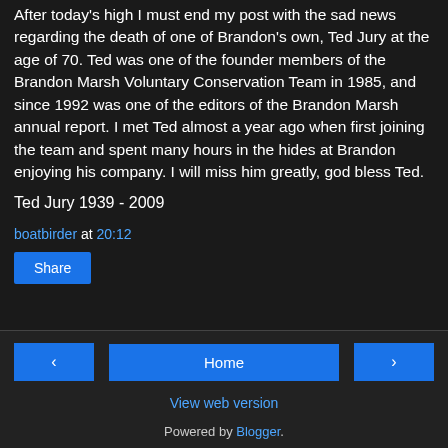After today's high I must end my post with the sad news regarding the death of one of Brandon's own, Ted Jury at the age of 70. Ted was one of the founder members of the Brandon Marsh Voluntary Conservation Team in 1985, and since 1992 was one of the editors of the Brandon Marsh annual report. I met Ted almost a year ago when first joining the team and spent many hours in the hides at Brandon enjoying his company. I will miss him greatly, god bless Ted.
Ted Jury 1939 - 2009
boatbirder at 20:12
Share
Home
View web version
Powered by Blogger.